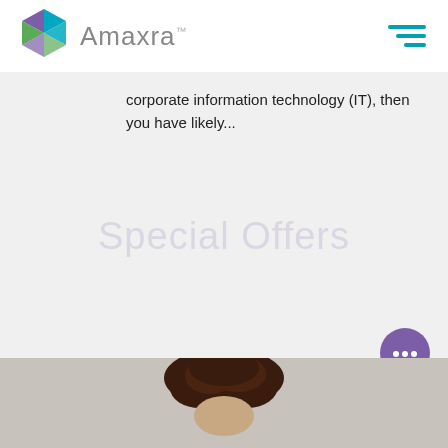[Figure (logo): Amaxra logo with geometric cube icon in teal, purple, and green, followed by the text 'Amaxra' in light grey sans-serif font with trademark symbol]
[Figure (other): Hamburger menu icon with three horizontal teal bars of decreasing width]
corporate information technology (IT), then you have likely...
Special Offers
[Figure (photo): Bottom portion of page showing a photo of a person with curly dark brown hair against a light grey background]